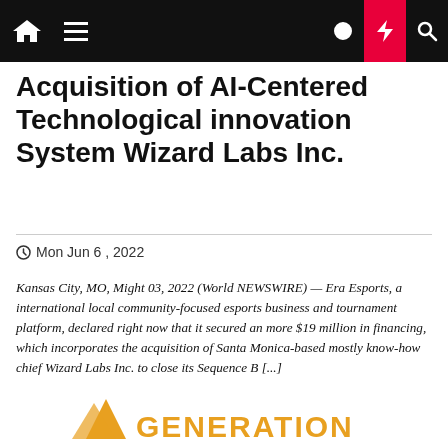Navigation bar with home, menu, moon, bolt, and search icons
Acquisition of AI-Centered Technological innovation System Wizard Labs Inc.
Mon Jun 6, 2022
Kansas City, MO, Might 03, 2022 (World NEWSWIRE) — Era Esports, a international local community-focused esports business and tournament platform, declared right now that it secured an more $19 million in financing, which incorporates the acquisition of Santa Monica-based mostly know-how chief Wizard Labs Inc. to close its Sequence B [...]
[Figure (logo): GENERATION logo with orange mountain/triangle icon]